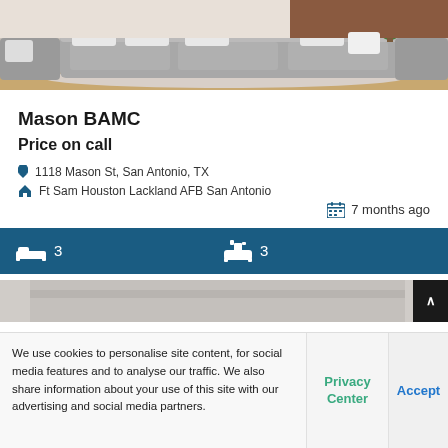[Figure (photo): Interior living room photo showing a grey sofa with white pillows on a beige rug, hardwood floor, and a small plant in the background]
Mason BAMC
Price on call
1118 Mason St, San Antonio, TX
Ft Sam Houston Lackland AFB San Antonio
7 months ago
3 bedrooms, 3 bathrooms
[Figure (photo): Partial interior photo at bottom of card]
We use cookies to personalise site content, for social media features and to analyse our traffic. We also share information about your use of this site with our advertising and social media partners.
Privacy Center
Accept